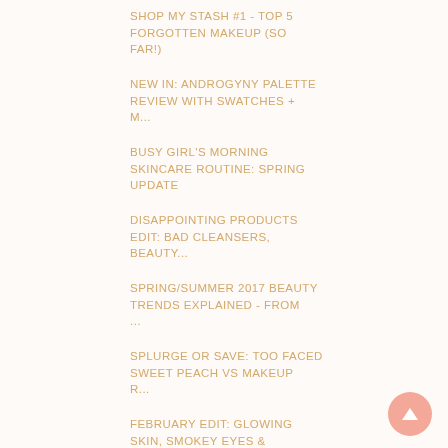SHOP MY STASH #1 - TOP 5 FORGOTTEN MAKEUP (SO FAR!)
NEW IN: ANDROGYNY PALETTE REVIEW WITH SWATCHES + M...
BUSY GIRL'S MORNING SKINCARE ROUTINE: SPRING UPDATE
DISAPPOINTING PRODUCTS EDIT: BAD CLEANSERS, BEAUTY...
SPRING/SUMMER 2017 BEAUTY TRENDS EXPLAINED - FROM ...
SPLURGE OR SAVE: TOO FACED SWEET PEACH VS MAKEUP R...
FEBRUARY EDIT: GLOWING SKIN, SMOKEY EYES & BEAUTY ...
FEBRUARY (10)
JANUARY (10)
2016 (66)
2015 (36)